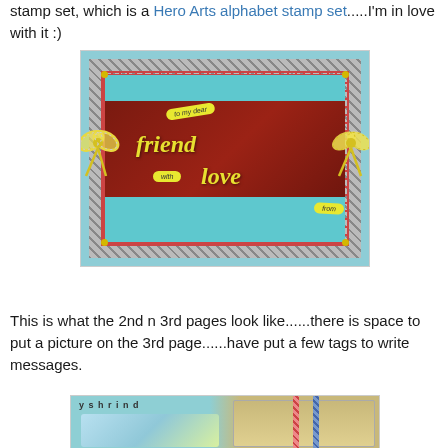stamp set, which is a Hero Arts alphabet stamp set......I'm in love with it :)
[Figure (photo): A handmade craft book cover decorated with plaid fabric border, teal and maroon card stock, yellow ribbon bows on sides, and stamped text reading 'to my dear friend with love from']
This is what the 2nd n 3rd pages look like......there is space to put a picture on the 3rd page......have put a few tags to write messages.
[Figure (photo): Partial view of open craft book pages showing colorful fabric and stamped decorations with ribbons]